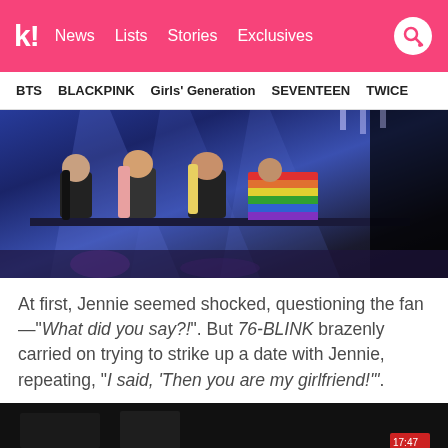k! News  Lists  Stories  Exclusives
BTS  BLACKPINK  Girls' Generation  SEVENTEEN  TWICE
[Figure (photo): BLACKPINK members sitting on stage edge at a concert, one fan holding a rainbow flag]
At first, Jennie seemed shocked, questioning the fan—"What did you say?!". But 76-BLINK brazenly carried on trying to strike up a date with Jennie, repeating, "I said, 'Then you are my girlfriend!'".
[Figure (photo): Dark concert venue scene, partially visible at bottom of page]